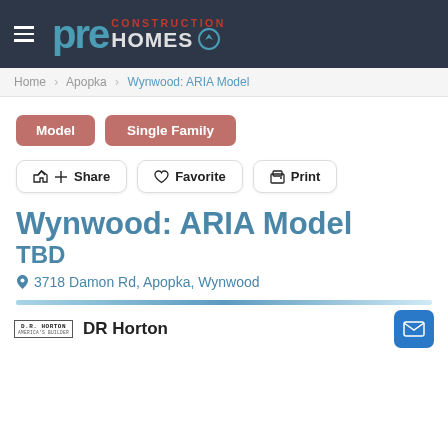pre CONSTRUCTION HOMES
Home > Apopka > Wynwood: ARIA Model
Model
Single Family
Share  Favorite  Print
Wynwood: ARIA Model
TBD
3718 Damon Rd, Apopka, Wynwood
DR Horton